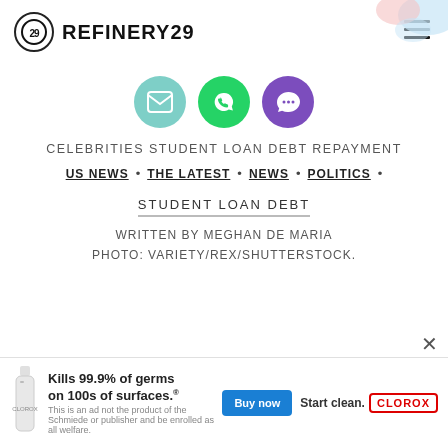REFINERY29
[Figure (illustration): Three social sharing icons: email (teal circle), WhatsApp (green circle), chat/comment (purple circle)]
CELEBRITIES STUDENT LOAN DEBT REPAYMENT
US NEWS
THE LATEST
NEWS
POLITICS
STUDENT LOAN DEBT
WRITTEN BY MEGHAN DE MARIA
PHOTO: VARIETY/REX/SHUTTERSTOCK.
[Figure (other): Clorox advertisement: Kills 99.9% of germs on 100s of surfaces. Buy now. Start clean. CLOROX logo.]